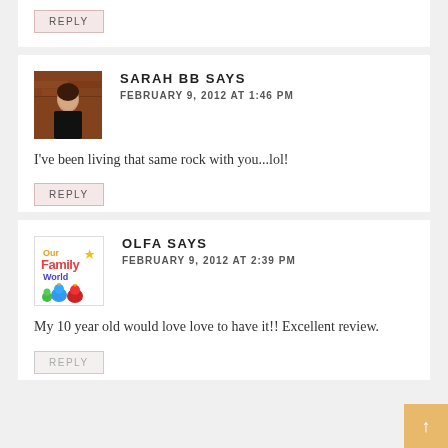REPLY
SARAH BB SAYS
FEBRUARY 9, 2012 AT 1:46 PM
I've been living that same rock with you...lol!
REPLY
OLFA SAYS
FEBRUARY 9, 2012 AT 2:39 PM
My 10 year old would love love to have it!! Excellent review.
REPLY